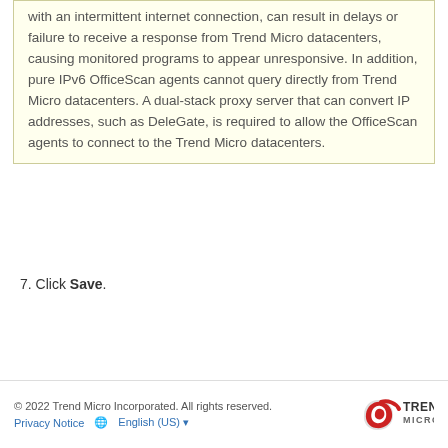with an intermittent internet connection, can result in delays or failure to receive a response from Trend Micro datacenters, causing monitored programs to appear unresponsive. In addition, pure IPv6 OfficeScan agents cannot query directly from Trend Micro datacenters. A dual-stack proxy server that can convert IP addresses, such as DeleGate, is required to allow the OfficeScan agents to connect to the Trend Micro datacenters.
7. Click Save.
© 2022 Trend Micro Incorporated. All rights reserved. Privacy Notice  English (US)